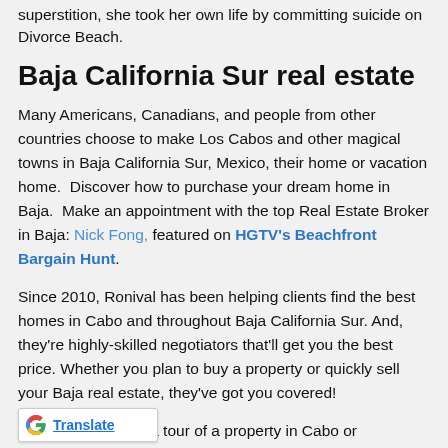superstition, she took her own life by committing suicide on Divorce Beach.
Baja California Sur real estate
Many Americans, Canadians, and people from other countries choose to make Los Cabos and other magical towns in Baja California Sur, Mexico, their home or vacation home.  Discover how to purchase your dream home in Baja.  Make an appointment with the top Real Estate Broker in Baja: Nick Fong, featured on HGTV's Beachfront Bargain Hunt.
Since 2010, Ronival has been helping clients find the best homes in Cabo and throughout Baja California Sur. And, they're highly-skilled negotiators that'll get you the best price. Whether you plan to buy a property or quickly sell your Baja real estate, they've got you covered!
If you'd like to take a tour of a property in Cabo or ... in Baja California Sur, just
[Figure (logo): Google Translate widget with G logo and Translate link]